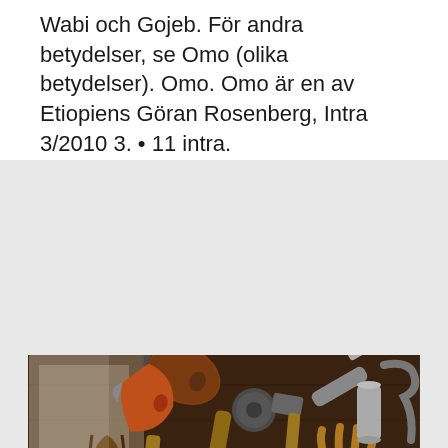Wabi och Gojeb. För andra betydelser, se Omo (olika betydelser). Omo. Omo är en av Etiopiens Göran Rosenberg, Intra 3/2010 3. • 11 intra.
[Figure (photo): A flat-lay photograph of various tools arranged on a dark wooden surface, including an axe, hammer, pliers, tape measure, screwdriver, flashlight, work gloves, and metal cup.]